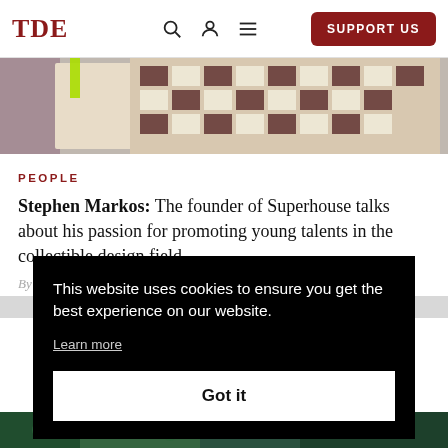TDE | SUPPORT US
[Figure (photo): Partial view of colorful textile or quilt with a patchwork pattern visible at the top of the page]
PEOPLE
Stephen Markos: The founder of Superhouse talks about his passion for promoting young talents in the collectible design field.
By
This website uses cookies to ensure you get the best experience on our website. Learn more Got it
[Figure (photo): Partial bottom strip showing what appears to be a colorful patterned fabric or garment in green tones]